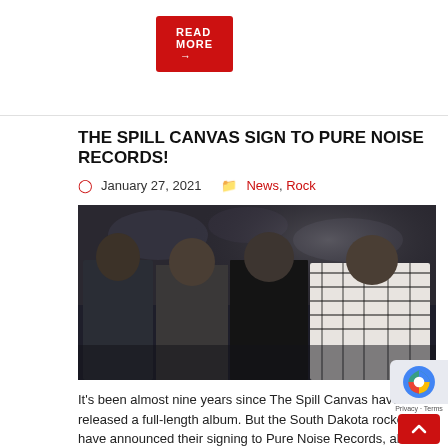READ MORE →
THE SPILL CANVAS SIGN TO PURE NOISE RECORDS!
January 27, 2021   News, Rock
[Figure (photo): Four members of The Spill Canvas band standing in front of a graffiti wall in a dark, moody setting.]
It's been almost nine years since The Spill Canvas have released a full-length album. But the South Dakota rockers have announced their signing to Pure Noise Records, along with the reveal that they will be releasing a new album, "Conduit", on March 5th 2021. On the band's signing, lead…